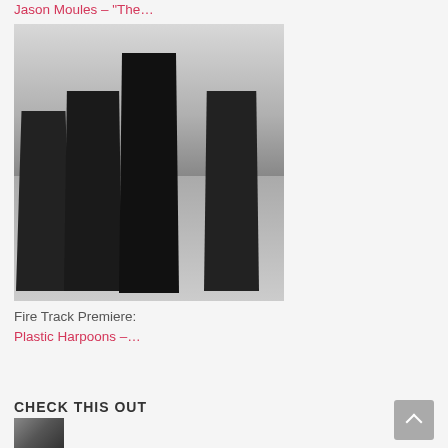Jason Moules – “The…
[Figure (photo): Black and white photo of a band of four people standing/posing outdoors against a light sky background]
Fire Track Premiere:
Plastic Harpoons –…
CHECK THIS OUT
[Figure (photo): Small thumbnail image at the bottom left]